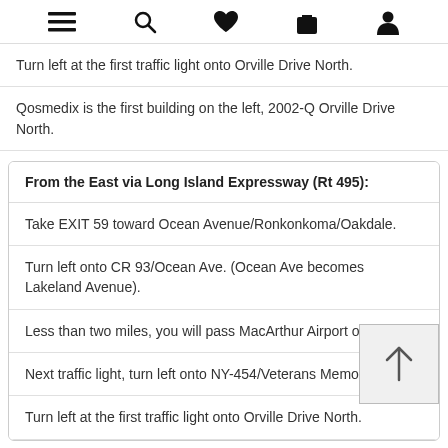[menu] [search] [heart/wishlist] [bag/cart] [account]
Turn left at the first traffic light onto Orville Drive North.
Qosmedix is the first building on the left, 2002-Q Orville Drive North.
From the East via Long Island Expressway (Rt 495):
Take EXIT 59 toward Ocean Avenue/Ronkonkoma/Oakdale.
Turn left onto CR 93/Ocean Ave. (Ocean Ave becomes Lakeland Avenue).
Less than two miles, you will pass MacArthur Airport on the left.
Next traffic light, turn left onto NY-454/Veterans Memorial H...
Turn left at the first traffic light onto Orville Drive North.